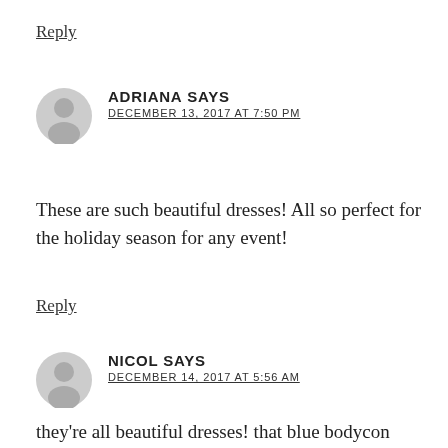Reply
ADRIANA SAYS
DECEMBER 13, 2017 AT 7:50 PM
These are such beautiful dresses! All so perfect for the holiday season for any event!
Reply
NICOL SAYS
DECEMBER 14, 2017 AT 5:56 AM
they're all beautiful dresses! that blue bodycon